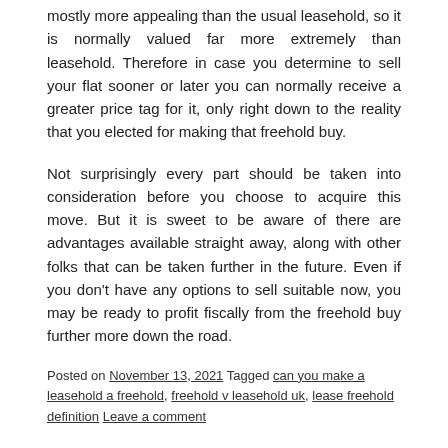mostly more appealing than the usual leasehold, so it is normally valued far more extremely than leasehold. Therefore in case you determine to sell your flat sooner or later you can normally receive a greater price tag for it, only right down to the reality that you elected for making that freehold buy.
Not surprisingly every part should be taken into consideration before you choose to acquire this move. But it is sweet to be aware of there are advantages available straight away, along with other folks that can be taken further in the future. Even if you don't have any options to sell suitable now, you may be ready to profit fiscally from the freehold buy further more down the road.
Posted on November 13, 2021 Tagged can you make a leasehold a freehold, freehold v leasehold uk, lease freehold definition Leave a comment